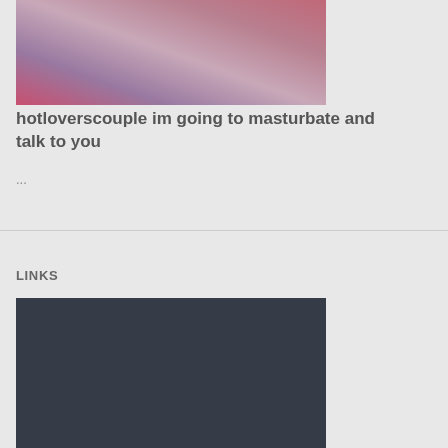[Figure (photo): Partial photo of a person in a purple/blue lace bralette with clothing visible in the background including a red garment]
hotloverscouple im going to masturbate and talk to you
...
LINKS
[Figure (photo): Dark screenshot or image with a dark navy/charcoal background, contents unclear]